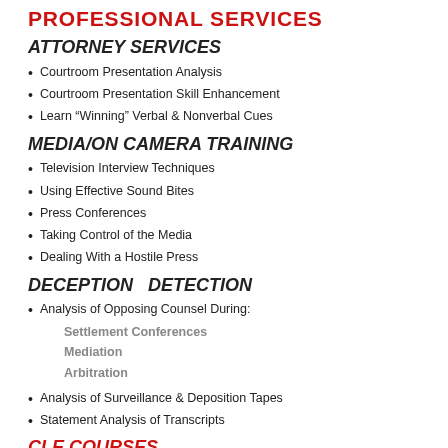PROFESSIONAL SERVICES
ATTORNEY SERVICES
Courtroom Presentation Analysis
Courtroom Presentation Skill Enhancement
Learn “Winning” Verbal & Nonverbal Cues
MEDIA/ON CAMERA TRAINING
Television Interview Techniques
Using Effective Sound Bites
Press Conferences
Taking Control of the Media
Dealing With a Hostile Press
DECEPTION  DETECTION
Analysis of Opposing Counsel During:
Settlement Conferences
Mediation
Arbitration
Analysis of Surveillance & Deposition Tapes
Statement Analysis of Transcripts
CLE COURSES
Lie Detection for Attorneys
Gender Differences in Negotiation